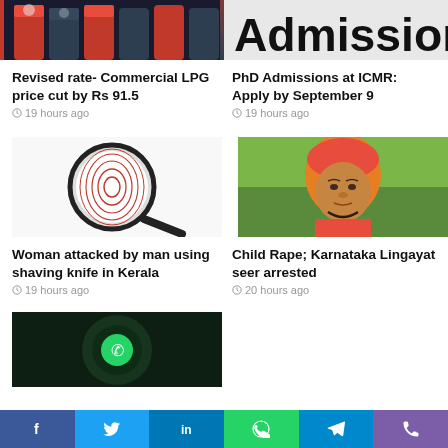[Figure (photo): Partial top image: red and blue cylindrical containers (LPG)]
[Figure (photo): Partial top image: large text reading 'Admission']
Revised rate- Commercial LPG price cut by Rs 91.5
19 hours ago
PhD Admissions at ICMR: Apply by September 9
19 hours ago
[Figure (photo): Magnifying glass over fingerprint]
[Figure (photo): Portrait of a man in orange turban and robes]
Woman attacked by man using shaving knife in Kerala
19 hours ago
Child Rape; Karnataka Lingayat seer arrested
20 hours ago
[Figure (photo): Partial image of dark background with WhatsApp-style icon]
f  y  in  (whatsapp)  (telegram)  (phone)